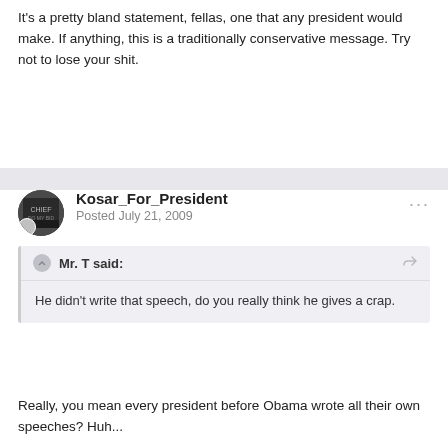It's a pretty bland statement, fellas, one that any president would make. If anything, this is a traditionally conservative message. Try not to lose your shit.
Kosar_For_President
Posted July 21, 2009
Mr. T said:
He didn't write that speech, do you really think he gives a crap.
Really, you mean every president before Obama wrote all their own speeches? Huh...